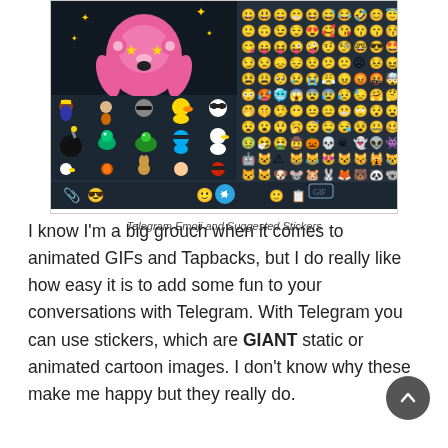[Figure (screenshot): Telegram app screenshot showing emoji panel on the right with a grid of yellow emoji faces, and sticker panel on the left showing various animated stickers including a pink monkey, animal characters, and cartoon figures on a dark background. Bottom bar shows attachment, emoji, send, and GIF controls.]
Telegram Emoji and Suggested Stickers
I know I'm a big grouch when it comes to animated GIFs and Tapbacks, but I do really like how easy it is to add some fun to your conversations with Telegram. With Telegram you can use stickers, which are GIANT static or animated cartoon images. I don't know why these make me happy but they really do.